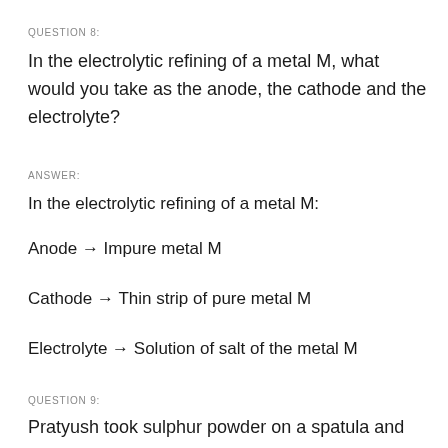QUESTION 8:
In the electrolytic refining of a metal M, what would you take as the anode, the cathode and the electrolyte?
ANSWER:
In the electrolytic refining of a metal M:
Anode → Impure metal M
Cathode → Thin strip of pure metal M
Electrolyte → Solution of salt of the metal M
QUESTION 9:
Pratyush took sulphur powder on a spatula and